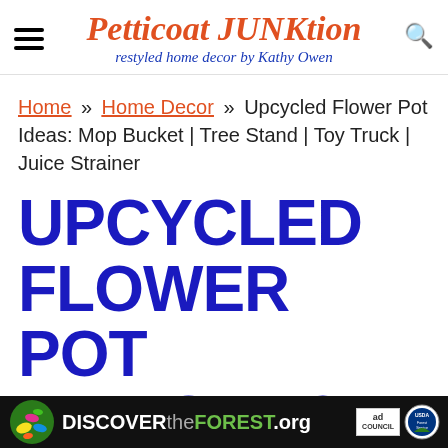Petticoat JUNKtion — restyled home decor by Kathy Owen
Home » Home Decor » Upcycled Flower Pot Ideas: Mop Bucket | Tree Stand | Toy Truck | Juice Strainer
UPCYCLED FLOWER POT IDEAS: MOP BUCKET | TREE
[Figure (other): Advertisement banner for DiscovertheForest.org with ad council and USDA Forest Service logos]